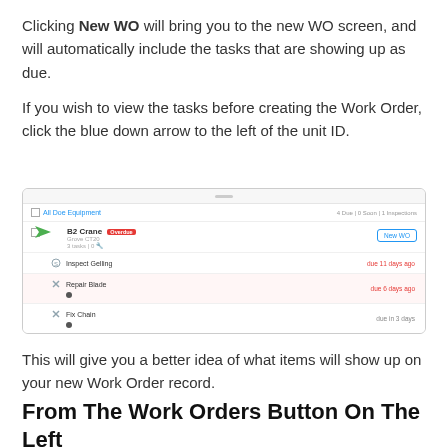Clicking New WO will bring you to the new WO screen, and will automatically include the tasks that are showing up as due.
If you wish to view the tasks before creating the Work Order, click the blue down arrow to the left of the unit ID.
[Figure (screenshot): Screenshot of a work order management UI showing a list with 'All Doe Equipment' header, a unit row for 'B2 Crane' (Grove CT20) marked Overdue with a New WO button, and three task rows: 'Inspect Gelling' due 11 days ago, 'Repair Blade' due 6 days ago (shaded red), and 'Fix Chain' due in 3 days. A green arrow points to the blue dropdown arrow next to the unit.]
This will give you a better idea of what items will show up on your new Work Order record.
From The Work Orders Button On The Left